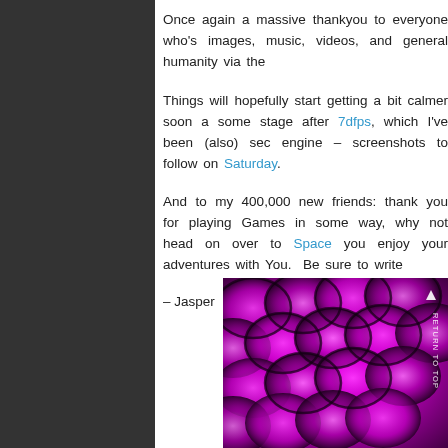Once again a massive thankyou to everyone who's images, music, videos, and general humanity via the
Things will hopefully start getting a bit calmer soon a some stage after 7dfps, which I've been (also) sec engine – screenshots to follow on Saturday.
And to my 400,000 new friends: thank you for playing Games in some way, why not head on over to Space you enjoy your adventures with You. Be sure to write
– Jasper
[Figure (photo): Abstract purple/magenta swirling scale-like patterns with a 'RETURN TO TOP' vertical text overlay on the right side]